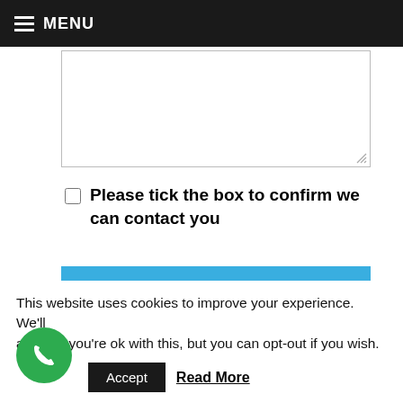MENU
[Figure (screenshot): Text area input field with resize handle]
Please tick the box to confirm we can contact you
Send
* denotes a required field
Share this:
This website uses cookies to improve your experience. We'll assume you're ok with this, but you can opt-out if you wish.
Accept  Read More